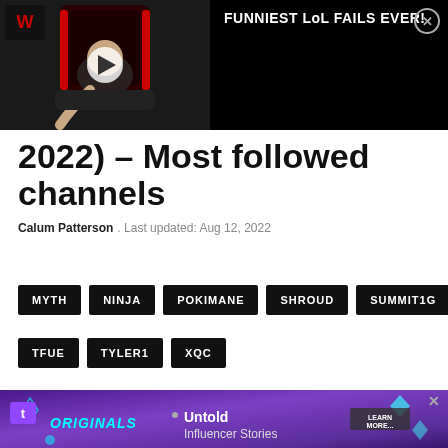[Figure (screenshot): Video thumbnail showing a person slumped in a gaming chair with a play button overlay, and a dark panel reading FUNNIEST LoL FAILS EVER! with a close button]
2022) – Most followed channels
Calum Patterson . Last updated: Aug 12, 2022
MYTH
NINJA
POKIMANE
SHROUD
SUMMIT1G
TFUE
TYLER1
XQC
[Figure (screenshot): Twitch Originals advertisement banner with purple background showing Originals logo and Untold Influencer Stories text with Learn More button]